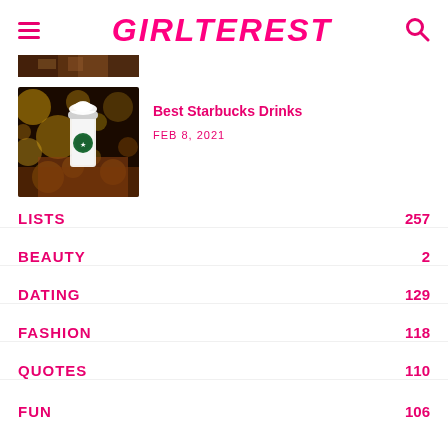GIRLTEREST
[Figure (photo): Partial top strip of a dark image, cropped at top]
[Figure (photo): Starbucks drink with bokeh lights background]
Best Starbucks Drinks
FEB 8, 2021
LISTS  257
BEAUTY  2
DATING  129
FASHION  118
QUOTES  110
FUN  106